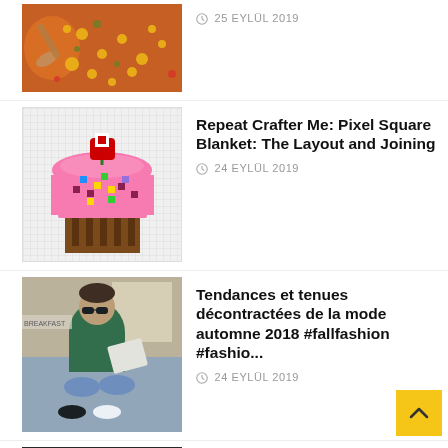[Figure (photo): Top view of a colourful food dish (corn, vegetables) with a wooden spoon]
25 EYLÜL 2019
[Figure (illustration): Pixel art cupcake on grid paper – pink frosting with sprinkles, brown base, red cherry on top]
Repeat Crafter Me: Pixel Square Blanket: The Layout and Joining
24 EYLÜL 2019
[Figure (photo): Person in green sweater and sunglasses sitting cross-legged reading papers, BREAKFAST sign in background]
Tendances et tenues décontractées de la mode automne 2018 #fallfashion #fashio...
24 EYLÜL 2019
[Figure (photo): Dark tiled bathroom partial view]
Bathroom Trends 2019 / 2020 –